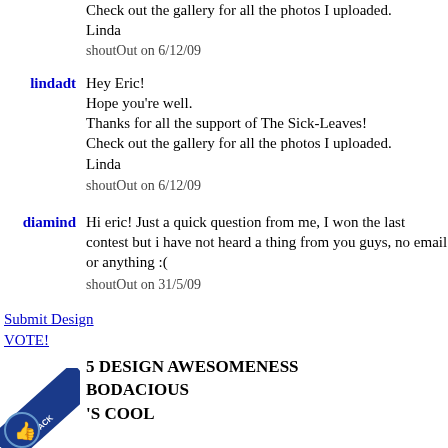Check out the gallery for all the photos I uploaded.
Linda
shoutOut on 6/12/09
lindadt
Hey Eric!
Hope you're well.
Thanks for all the support of The Sick-Leaves!
Check out the gallery for all the photos I uploaded.
Linda
shoutOut on 6/12/09
diamind
Hi eric! Just a quick question from me, I won the last contest but i have not heard a thing from you guys, no email or anything :(
shoutOut on 31/5/09
Submit Design
VOTE!
5 DESIGN AWESOMENESS
BODACIOUS
'S COOL
[Figure (logo): Feedback badge in lower left corner]